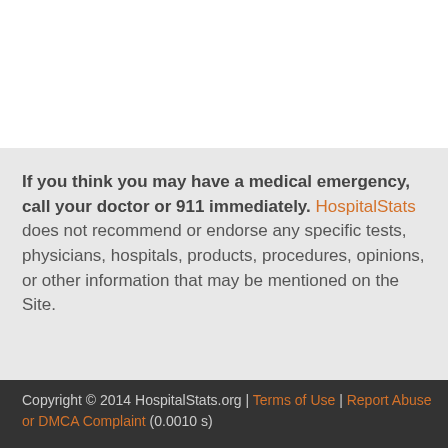If you think you may have a medical emergency, call your doctor or 911 immediately. HospitalStats does not recommend or endorse any specific tests, physicians, hospitals, products, procedures, opinions, or other information that may be mentioned on the Site.
Copyright © 2014 HospitalStats.org | Terms of Use | Report Abuse or DMCA Complaint (0.0010 s)